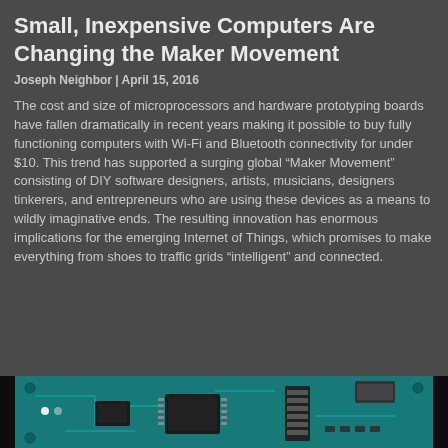Small, Inexpensive Computers Are Changing the Maker Movement
Joseph Neighbor | April 15, 2016
The cost and size of microprocessors and hardware prototyping boards have fallen dramatically in recent years making it possible to buy fully functioning computers with Wi-Fi and Bluetooth connectivity for under $10. This trend has supported a surging global “Maker Movement” consisting of DIY software designers, artists, musicians, designers tinkerers, and entrepreneurs who are using these devices as a means to wildly imaginative ends. The resulting innovation has enormous implications for the emerging Internet of Things, which promises to make everything from shoes to traffic grids “intelligent” and connected.
[Figure (photo): Photo of a circuit board (Arduino or similar microcontroller board) with teal/green PCB, visible components including chips, connectors, and electronic components, shown against a dark background.]